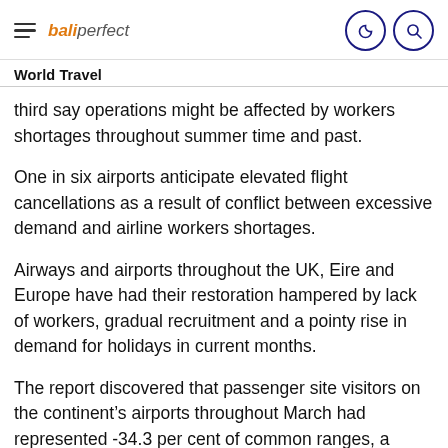baliperfect — World Travel
third say operations might be affected by workers shortages throughout summer time and past.
One in six airports anticipate elevated flight cancellations as a result of conflict between excessive demand and airline workers shortages.
Airways and airports throughout the UK, Eire and Europe have had their restoration hampered by lack of workers, gradual recruitment and a pointy rise in demand for holidays in current months.
The report discovered that passenger site visitors on the continent's airports throughout March had represented -34.3 per cent of common ranges, a robust